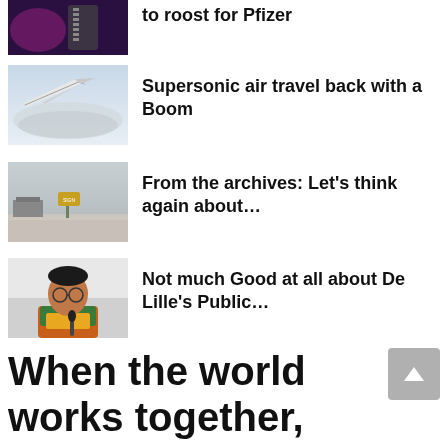[Figure (photo): Partial news thumbnail at top - medicine/pharmaceutical related image with purple/dark tones]
to roost for Pfizer
[Figure (photo): Supersonic aircraft (Concorde-like) in flight against cloudy sky]
Supersonic air travel back with a Boom
[Figure (photo): Desolate landscape with sign post and buildings in background]
From the archives: Let’s think again about…
[Figure (photo): Woman speaking at microphone, wearing colorful clothing]
Not much Good at all about De Lille’s Public…
When the world works together,